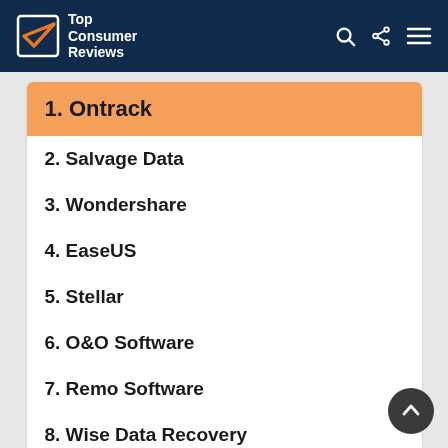Top Consumer Reviews
1. Ontrack
2. Salvage Data
3. Wondershare
4. EaseUS
5. Stellar
6. O&O Software
7. Remo Software
8. Wise Data Recovery
9. Undelete File Recovery